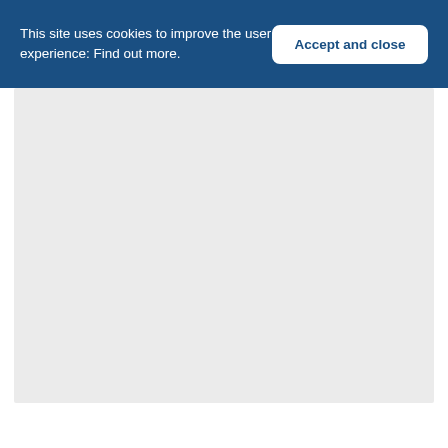This site uses cookies to improve the user experience: Find out more.
Accept and close